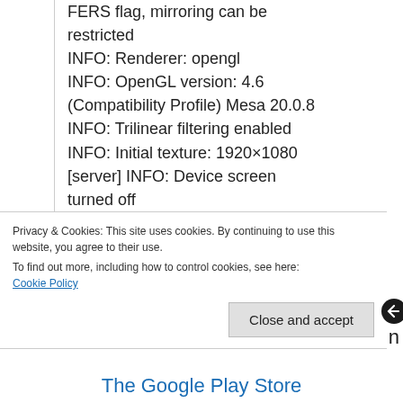FERS flag, mirroring can be restricted
INFO: Renderer: opengl
INFO: OpenGL version: 4.6 (Compatibility Profile) Mesa 20.0.8
INFO: Trilinear filtering enabled
INFO: Initial texture: 1920×1080
[server] INFO: Device screen turned off
When I turn on Dex on my phone in
Privacy & Cookies: This site uses cookies. By continuing to use this website, you agree to their use.
To find out more, including how to control cookies, see here:
Cookie Policy
Close and accept
The Google Play Store